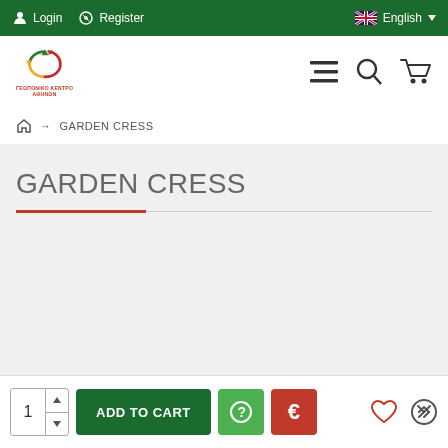Login | Register | English
[Figure (logo): Georgiko Kentro Athinon logo - circular recycling symbol in green with red Greek text below]
Home → GARDEN CRESS
GARDEN CRESS
1 | ADD TO CART | ? | €